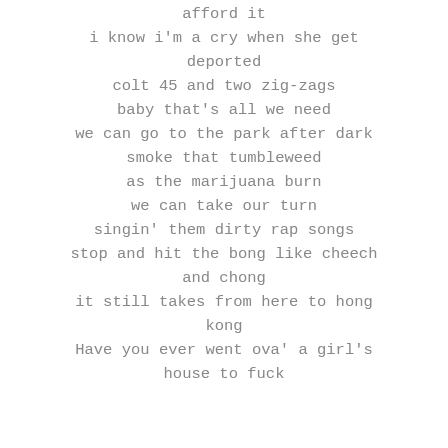afford it
i know i'm a cry when she get deported
colt 45 and two zig-zags
baby that's all we need
we can go to the park after dark
smoke that tumbleweed
as the marijuana burn
we can take our turn
singin' them dirty rap songs
stop and hit the bong like cheech and chong
it still takes from here to hong kong
Have you ever went ova' a girl's house to fuck